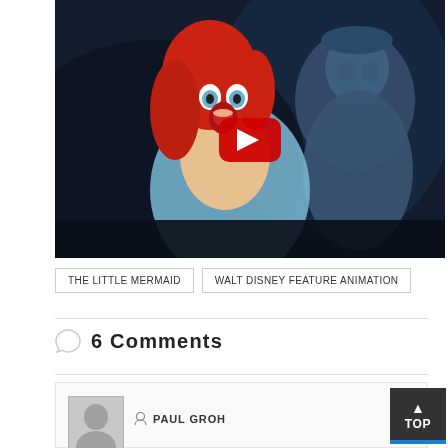[Figure (screenshot): YouTube video thumbnail showing an animated scene from The Little Mermaid with Ariel (red hair, open mouth, surprised expression) and Prince Eric (blue tones) with a red YouTube play button overlay in the center]
THE LITTLE MERMAID
WALT DISNEY FEATURE ANIMATION
6 Comments
PAUL GROH